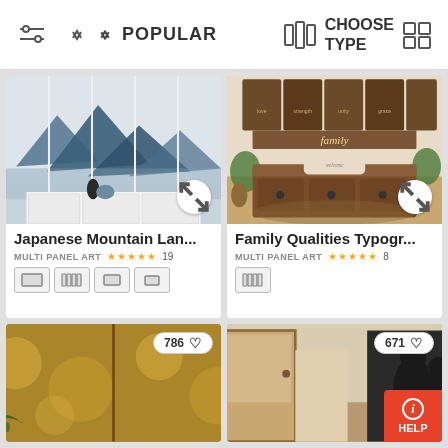Filter | Popular (sort) | Choose Type | Grid view
[Figure (photo): Japanese mountain landscape multi-panel art displayed above a white sideboard with decorative vases]
Japanese Mountain Lan...
MULTI PANEL ART ★★★★★ 19
[Figure (photo): Family Qualities Typography multi-panel art displayed above a rustic wooden bench in a home entryway]
Family Qualities Typogr...
MULTI PANEL ART ★★★★★ 8
[Figure (photo): Partial view of a golden floral/botanical wall art with palm leaves, liked 786 times]
[Figure (photo): Partial view of a hallway interior with a dark figurative artwork, liked 671 times]